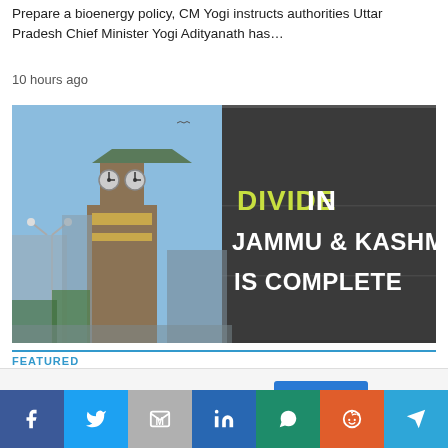Prepare a bioenergy policy, CM Yogi instructs authorities Uttar Pradesh Chief Minister Yogi Adityanath has…
10 hours ago
[Figure (photo): Clock tower building on left, dark overlay panel on right with text reading 'DIVIDE IN JAMMU & KASHMIR IS COMPLETE']
FEATURED
This website uses cookies.
Accept
[Figure (infographic): Social sharing bar with icons for Facebook, Twitter, Gmail, LinkedIn, WhatsApp, Reddit, Telegram]